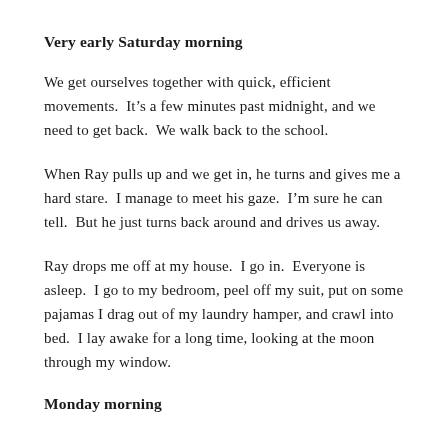Very early Saturday morning
We get ourselves together with quick, efficient movements. It's a few minutes past midnight, and we need to get back. We walk back to the school.
When Ray pulls up and we get in, he turns and gives me a hard stare. I manage to meet his gaze. I'm sure he can tell. But he just turns back around and drives us away.
Ray drops me off at my house. I go in. Everyone is asleep. I go to my bedroom, peel off my suit, put on some pajamas I drag out of my laundry hamper, and crawl into bed. I lay awake for a long time, looking at the moon through my window.
Monday morning